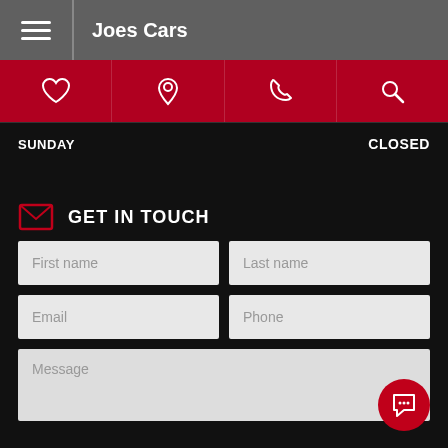Joes Cars
[Figure (screenshot): Navigation icons bar with heart, location pin, phone, and search icons on red background]
SUNDAY   CLOSED
GET IN TOUCH
First name
Last name
Email
Phone
Message